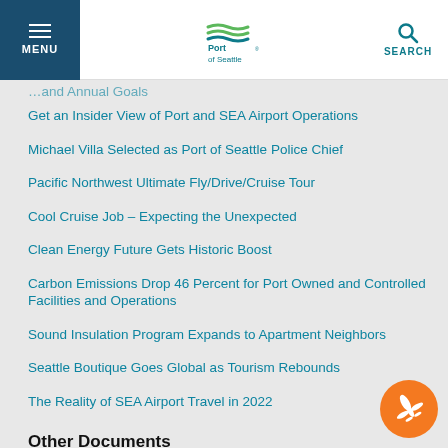MENU | Port of Seattle | SEARCH
Get an Insider View of Port and SEA Airport Operations
Michael Villa Selected as Port of Seattle Police Chief
Pacific Northwest Ultimate Fly/Drive/Cruise Tour
Cool Cruise Job – Expecting the Unexpected
Clean Energy Future Gets Historic Boost
Carbon Emissions Drop 46 Percent for Port Owned and Controlled Facilities and Operations
Sound Insulation Program Expands to Apartment Neighbors
Seattle Boutique Goes Global as Tourism Rebounds
The Reality of SEA Airport Travel in 2022
Other Documents
ORAT Project Delivery Process